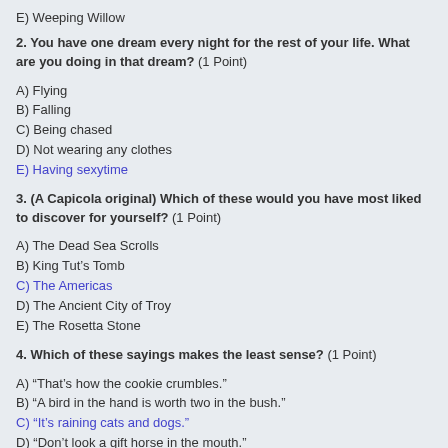E) Weeping Willow
2. You have one dream every night for the rest of your life. What are you doing in that dream? (1 Point)
A) Flying
B) Falling
C) Being chased
D) Not wearing any clothes
E) Having sexytime
3. (A Capicola original) Which of these would you have most liked to discover for yourself? (1 Point)
A) The Dead Sea Scrolls
B) King Tut's Tomb
C) The Americas
D) The Ancient City of Troy
E) The Rosetta Stone
4. Which of these sayings makes the least sense? (1 Point)
A) "That's how the cookie crumbles."
B) "A bird in the hand is worth two in the bush."
C) "It's raining cats and dogs."
D) "Don't look a gift horse in the mouth."
E) "You can't teach an old dog new tricks."